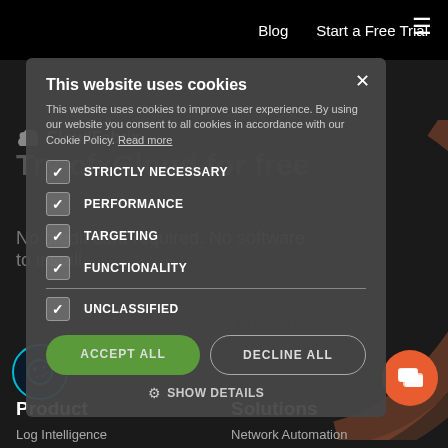Blog   Start a Free Trial
Try cfxCloud for free
No credit card required. No software to install.
Start a Free Trial →
[Figure (screenshot): Cookie consent modal overlay on CloudFabrix website. Contains title 'This website uses cookies', body text about cookie policy, checkboxes for STRICTLY NECESSARY, PERFORMANCE, TARGETING, FUNCTIONALITY, UNCLASSIFIED, ACCEPT ALL and DECLINE ALL buttons, and SHOW DETAILS link.]
Product   Solutions
Log Intelligence   Network Automation